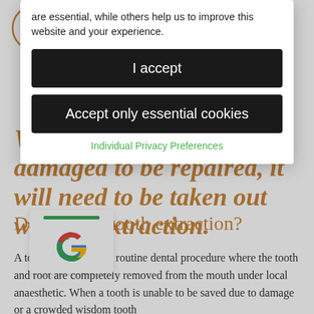are essential, while others help us to improve this website and your experience.
I accept
Accept only essential cookies
Individual Privacy Preferences
When a tooth is too damaged to be repaired, it will need to be taken out with an extraction.
Do I need a tooth extraction?
A tooth extraction is a routine dental procedure where the tooth and root are completely removed from the mouth under local anaesthetic. When a tooth is unable to be saved due to damage or a crowded wisdom tooth
[Figure (logo): Google 'G' logo with green bar above it]